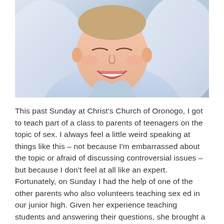[Figure (photo): Close-up photo of a young person smiling, wearing a light blue sweatshirt, lying back with hands behind head]
This past Sunday at Christ's Church of Oronogo, I got to teach part of a class to parents of teenagers on the topic of sex. I always feel a little weird speaking at things like this – not because I'm embarrassed about the topic or afraid of discussing controversial issues – but because I don't feel at all like an expert. Fortunately, on Sunday I had the help of one of the other parents who also volunteers teaching sex ed in our junior high. Given her experience teaching students and answering their questions, she brought a lot more credibility to our discussion.